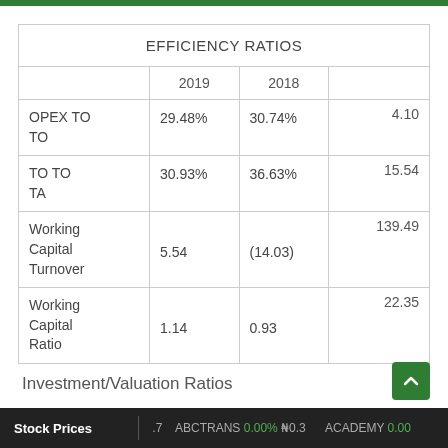|  | 2019 | 2018 |  |
| --- | --- | --- | --- |
| OPEX TO TO | 29.48% | 30.74% | 4.10 |
| TO TO TA | 30.93% | 36.63% | 15.54 |
| Working Capital Turnover | 5.54 | (14.03) | 139.49 |
| Working Capital Ratio | 1.14 | 0.93 | 22.35 |
Investment/Valuation Ratios
Stock Prices   .7   ABCTRANS 0.00% ₦0.3   ACADEMY 0.00